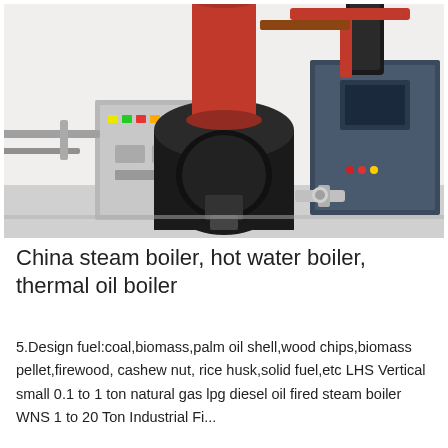[Figure (photo): Photograph of an industrial steam boiler system in a facility, showing a large red cylindrical chimney/stack on top, a black burner/combustion chamber in the center, a gray electrical control panel on the left with colored indicator lights and switches, and a blue control cabinet on the right with a digital display panel. Orange/red pipes run along the top right. The equipment is set against a white wall background.]
China steam boiler, hot water boiler, thermal oil boiler
5.Design fuel:coal,biomass,palm oil shell,wood chips,biomass pellet,firewood, cashew nut, rice husk,solid fuel,etc LHS Vertical small 0.1 to 1 ton natural gas lpg diesel oil fired steam boiler WNS 1 to 20 Ton Industrial Fi...